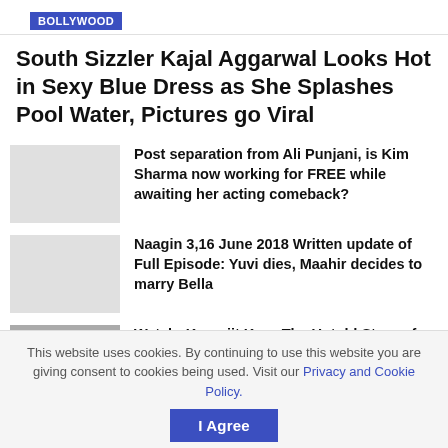BOLLYWOOD
South Sizzler Kajal Aggarwal Looks Hot in Sexy Blue Dress as She Splashes Pool Water, Pictures go Viral
Post separation from Ali Punjani, is Kim Sharma now working for FREE while awaiting her acting comeback?
Naagin 3,16 June 2018 Written update of Full Episode: Yuvi dies, Maahir decides to marry Bella
Watch: Karenjit Kaur-The Untold Story of Sunny Leone's song 'It's Hot' lives up to it…
This website uses cookies. By continuing to use this website you are giving consent to cookies being used. Visit our Privacy and Cookie Policy. I Agree